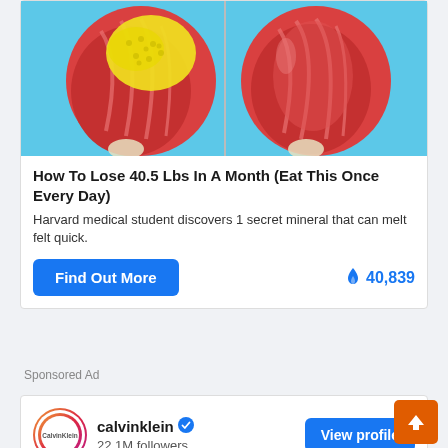[Figure (illustration): Medical illustration showing two side-by-side views of leg muscles/anatomy on a blue background. Left side shows muscles with yellow fat deposits; right side shows leaner muscles without fat.]
How To Lose 40.5 Lbs In A Month (Eat This Once Every Day)
Harvard medical student discovers 1 secret mineral that can melt felt quick.
Find Out More
🔥 40,839
Sponsored Ad
[Figure (logo): Calvin Klein circular logo with gradient border]
calvinklein ✔ 22.1M followers
View profile
[Figure (photo): Partial photo of a person with curly hair at bottom of page]